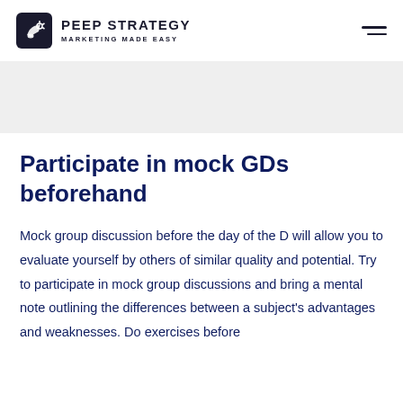PEEP STRATEGY — MARKETING MADE EASY
Participate in mock GDs beforehand
Mock group discussion before the day of the D will allow you to evaluate yourself by others of similar quality and potential. Try to participate in mock group discussions and bring a mental note outlining the differences between a subject's advantages and weaknesses. Do exercises before